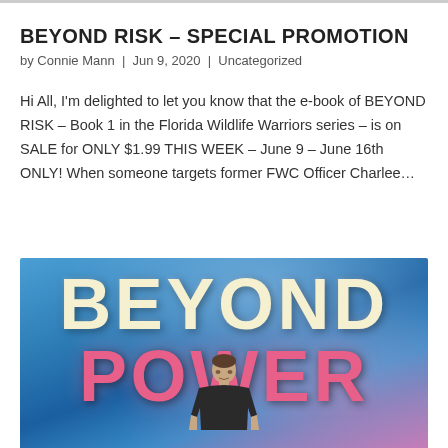BEYOND RISK – SPECIAL PROMOTION
by Connie Mann | Jun 9, 2020 | Uncategorized
Hi All, I'm delighted to let you know that the e-book of BEYOND RISK – Book 1 in the Florida Wildlife Warriors series – is on SALE for ONLY $1.99 THIS WEEK – June 9 – June 16th ONLY! When someone targets former FWC Officer Charlee…
[Figure (photo): Book cover for 'Beyond Power' showing large stylized text 'BEYOND' in cream/white and 'POWER' in pink/salmon, on a blue atmospheric background with a male figure in the foreground]